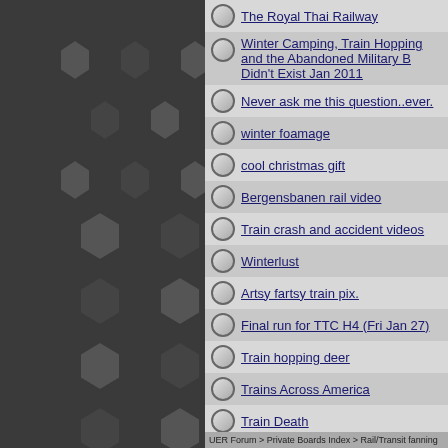[Figure (illustration): Dark sidebar with hexagonal pattern tiles in various shades of grey]
The Royal Thai Railway
Winter Camping, Train Hopping and the Abandoned Military Base That Didn't Exist Jan 2011
Never ask me this question..ever.
winter foamage
cool christmas gift
Bergensbanen rail video
Train crash and accident videos
Winterlust
Artsy fartsy train pix.
Final run for TTC H4 (Fri Jan 27)
Train hopping deer
Trains Across America
Train Death
VIA nearly hits GEXR freight....
Via train hits reverse to avoid collision with freight train
Oh shit...someone over ran their OCS limits.
Question...
Hobos of the steam era
UER Forum > Private Boards Index > Rail/Transit fanning